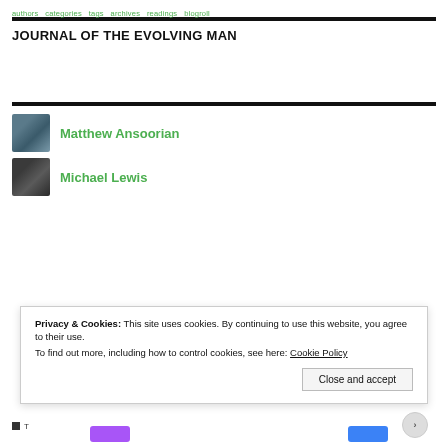Journal of the Evolving Man — navigation links
JOURNAL OF THE EVOLVING MAN
Matthew Ansoorian
Michael Lewis
Privacy & Cookies: This site uses cookies. By continuing to use this website, you agree to their use. To find out more, including how to control cookies, see here: Cookie Policy
Close and accept